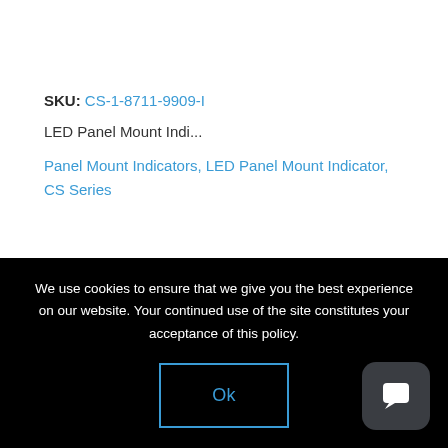SKU: CS-1-8711-9909-I
LED Panel Mount Indi...
Panel Mount Indicators, LED Panel Mount Indicator, CS Series
We use cookies to ensure that we give you the best experience on our website. Your continued use of the site constitutes your acceptance of this policy.